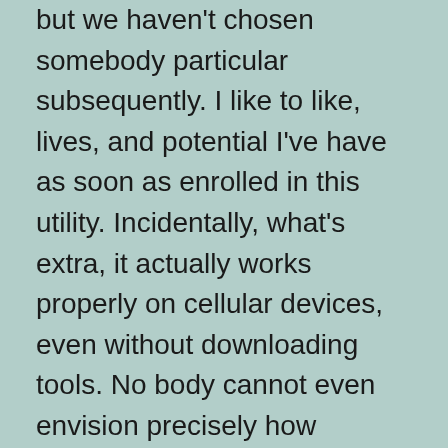but we haven't chosen somebody particular subsequently. I like to like, lives, and potential I've have as soon as enrolled in this utility. Incidentally, what's extra, it actually works properly on cellular devices, even without downloading tools. No body cannot even envision precisely how practical and game-changing my initial glorious match was.
Group Chat Rooms And Private Messaging
Our chat rooms work on all cellular devices and are full of options everybody can use. Free